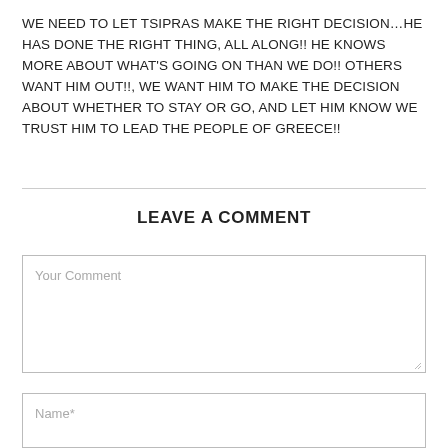WE NEED TO LET TSIPRAS MAKE THE RIGHT DECISION…HE HAS DONE THE RIGHT THING, ALL ALONG!! HE KNOWS MORE ABOUT WHAT'S GOING ON THAN WE DO!! OTHERS WANT HIM OUT!!, WE WANT HIM TO MAKE THE DECISION ABOUT WHETHER TO STAY OR GO, AND LET HIM KNOW WE TRUST HIM TO LEAD THE PEOPLE OF GREECE!!
LEAVE A COMMENT
Your Comment
Name*